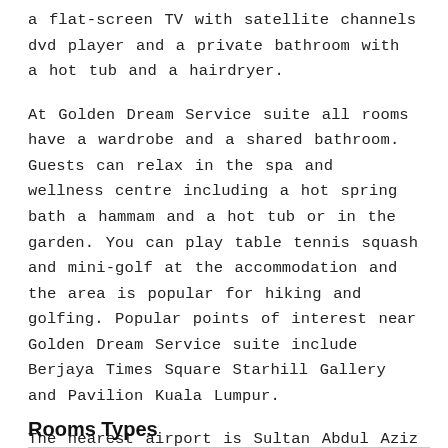a flat-screen TV with satellite channels dvd player and a private bathroom with a hot tub and a hairdryer.
At Golden Dream Service suite all rooms have a wardrobe and a shared bathroom. Guests can relax in the spa and wellness centre including a hot spring bath a hammam and a hot tub or in the garden. You can play table tennis squash and mini-golf at the accommodation and the area is popular for hiking and golfing. Popular points of interest near Golden Dream Service suite include Berjaya Times Square Starhill Gallery and Pavilion Kuala Lumpur.
The nearest airport is Sultan Abdul Aziz Shah Airport 18 km from the hotel.
Rooms Types